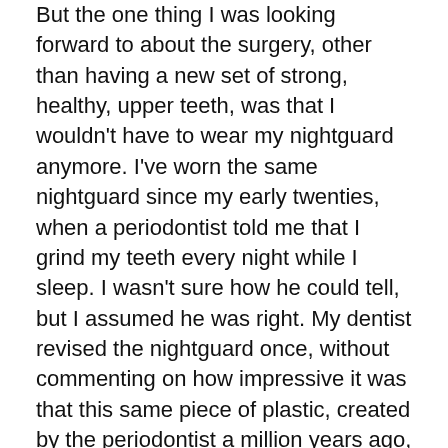But the one thing I was looking forward to about the surgery, other than having a new set of strong, healthy, upper teeth, was that I wouldn't have to wear my nightguard anymore. I've worn the same nightguard since my early twenties, when a periodontist told me that I grind my teeth every night while I sleep. I wasn't sure how he could tell, but I assumed he was right. My dentist revised the nightguard once, without commenting on how impressive it was that this same piece of plastic, created by the periodontist a million years ago, was still holding strong.
I'm only finding out now, per Google, that I was supposed to be doing a monthly deep cleaning of the darned thing. I always brushed it with toothpaste and rinsed it and dried it before putting it away in its case (though now I'm also finding out that my toothpaste might have been too